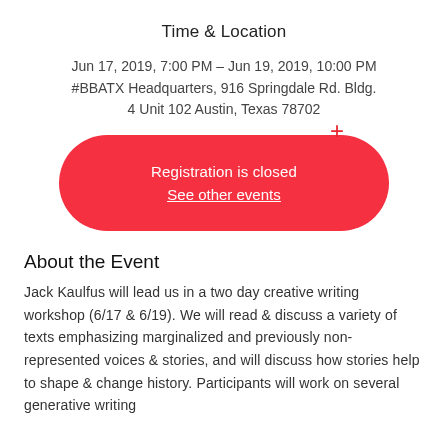Time & Location
Jun 17, 2019, 7:00 PM – Jun 19, 2019, 10:00 PM
#BBATX Headquarters, 916 Springdale Rd. Bldg. 4 Unit 102 Austin, Texas 78702
[Figure (other): Red pill-shaped button with 'Registration is closed' and 'See other events' text in white, with a red plus icon in the upper right area]
About the Event
Jack Kaulfus will lead us in a two day creative writing workshop (6/17 & 6/19). We will read & discuss a variety of texts emphasizing marginalized and previously non-represented voices & stories, and will discuss how stories help to shape & change history. Participants will work on several generative writing...